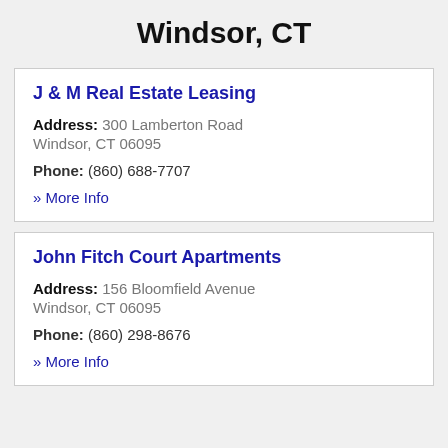Windsor, CT
J & M Real Estate Leasing
Address: 300 Lamberton Road Windsor, CT 06095
Phone: (860) 688-7707
» More Info
John Fitch Court Apartments
Address: 156 Bloomfield Avenue Windsor, CT 06095
Phone: (860) 298-8676
» More Info